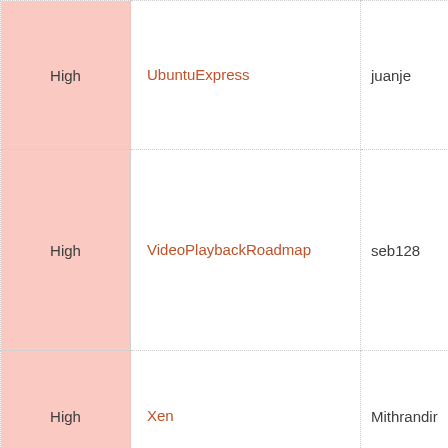| Priority | Name | Owner |
| --- | --- | --- |
| High | UbuntuExpress | juanje |
| High | VideoPlaybackRoadmap | seb128 |
| High | Xen | Mithrandir |